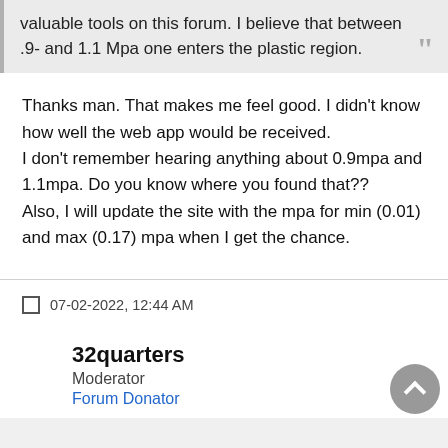valuable tools on this forum. I believe that between .9- and 1.1 Mpa one enters the plastic region.
Thanks man. That makes me feel good. I didn't know how well the web app would be received.
I don't remember hearing anything about 0.9mpa and 1.1mpa. Do you know where you found that??
Also, I will update the site with the mpa for min (0.01) and max (0.17) mpa when I get the chance.
07-02-2022, 12:44 AM
32quarters
Moderator
Forum Donator